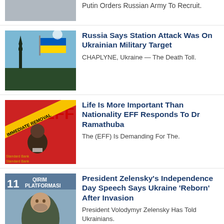Putin Orders Russian Army To Recruit.
[Figure (photo): Ukrainian flag and monument silhouette against sky]
Russia Says Station Attack Was On Ukrainian Military Target
CHAPLYNE, Ukraine — The Death Toll.
[Figure (photo): EFF event with person in foreground and EFF banners]
Life Is More Important Than Nationality EFF Responds To Dr Ramathuba
The (EFF) Is Demanding For The.
[Figure (photo): President Zelensky at Qirim Platformasi event]
President Zelensky's Independence Day Speech Says Ukraine 'Reborn' After Invasion
President Volodymyr Zelensky Has Told Ukrainians.